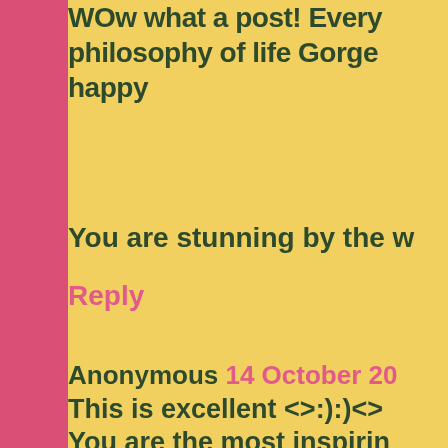WOw what a post! Every philosophy of life Gorge happy
You are stunning by the w
Reply
Anonymous 14 October 20
This is excellent <>:):)<> You are the most inspirin I get lost in your words .and omg I'm so envious girl !!! Love love love